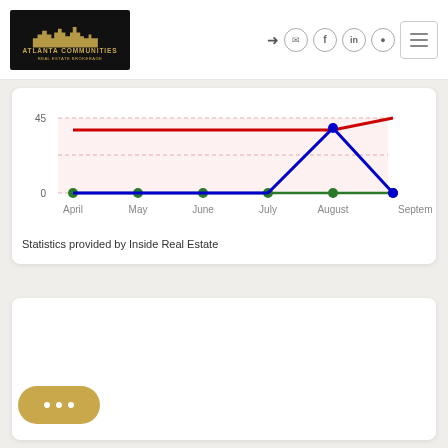[Figure (logo): Atlanta Communities Real Estate Brokerage logo with city skyline in gold on black background]
[Figure (other): Navigation icons: login arrow, mail, Facebook, LinkedIn, Instagram, and hamburger menu button]
[Figure (line-chart): Monthly real estate statistics April through September]
Statistics provided by Inside Real Estate
[Figure (other): Chat button with ellipsis dots in gold/tan color]